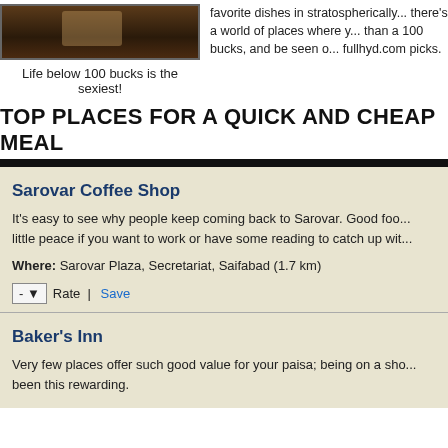[Figure (photo): Photo of people dining or a restaurant scene]
Life below 100 bucks is the sexiest!
favorite dishes in stratospherically... there's a world of places where y... than a 100 bucks, and be seen o... fullhyd.com picks.
TOP PLACES FOR A QUICK AND CHEAP MEAL
Sarovar Coffee Shop
It's easy to see why people keep coming back to Sarovar. Good foo... little peace if you want to work or have some reading to catch up wit...
Where: Sarovar Plaza, Secretariat, Saifabad (1.7 km)
- Rate | Save
Baker's Inn
Very few places offer such good value for your paisa; being on a sho... been this rewarding.